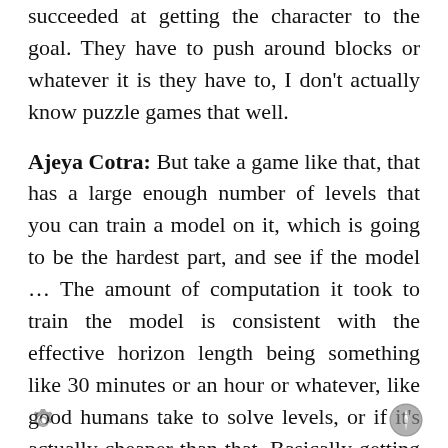succeeded at getting the character to the goal. They have to push around blocks or whatever it is they have to, I don't actually know puzzle games that well.
Ajeya Cotra: But take a game like that, that has a large enough number of levels that you can train a model on it, which is going to be the hardest part, and see if the model … The amount of computation it took to train the model is consistent with the effective horizon length being something like 30 minutes or an hour or whatever, like good humans take to solve levels, or if it's actually cheaper than that. Basically getting to play around with the game for a lot of time steps lets you learn really well, even if you get sparse reward.